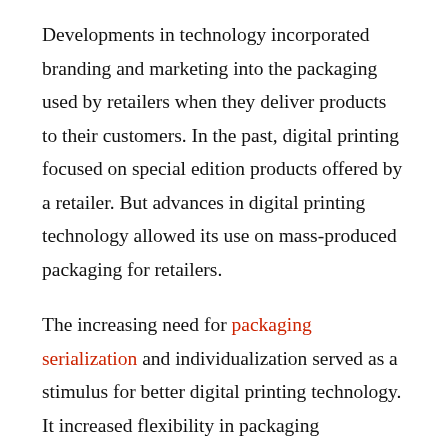Developments in technology incorporated branding and marketing into the packaging used by retailers when they deliver products to their customers. In the past, digital printing focused on special edition products offered by a retailer. But advances in digital printing technology allowed its use on mass-produced packaging for retailers.
The increasing need for packaging serialization and individualization served as a stimulus for better digital printing technology. It increased flexibility in packaging procedures and processes. It also spurred the digitization of